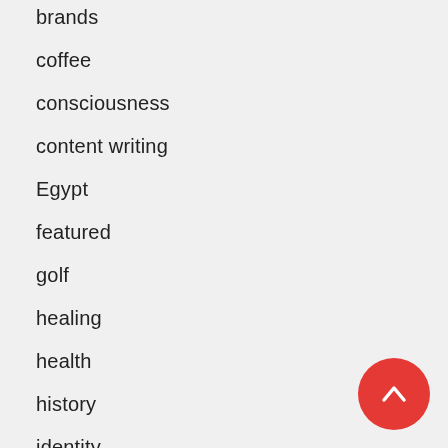brands
coffee
consciousness
content writing
Egypt
featured
golf
healing
health
history
identity